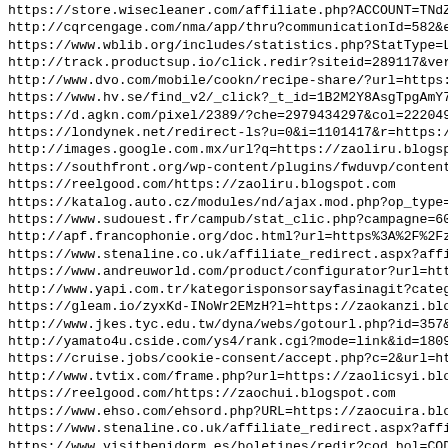https://store.wisecleaner.com/affiliate.php?ACCOUNT=TNdZ1&...
http://cqrcengage.com/nma/app/thru?communicationId=582&edr1
https://www.wblib.org/includes/statistics.php?StatType=Link
http://track.productsup.io/click.redir?siteid=289117&versio
http://www.dvo.com/mobile/cookn/recipe-share/?url=https://z
https://www.hv.se/find_v2/_click?_t_id=1B2M2Y8AsgTpgAmY7PhC
https://d.agkn.com/pixel/2389/?che=2979434297&col=22204979,
https://londynek.net/redirect-ls?u=0&i=1101417&r=https://za
http://images.google.com.mx/url?q=https://zaoliru.blogspot.
https://southfront.org/wp-content/plugins/fwduvp/content/vi
https://reelgood.com/https://zaoliru.blogspot.com
https://katalog.auto.cz/modules/nd/ajax.mod.php?op_type=cat
https://www.sudouest.fr/campub/stat_clic.php?campagne=6012&
http://apf.francophonie.org/doc.html?url=https%3A%2F%2Fzaod
https://www.stenaline.co.uk/affiliate_redirect.aspx?affilia
https://www.andreuworld.com/product/configurator?url=https%
http://www.yapi.com.tr/kategorisponsorsayfasinagit?category
https://gleam.io/zyxKd-INoWr2EMzH?l=https://zaokanzi.blogsp
http://www.jkes.tyc.edu.tw/dyna/webs/gotourl.php?id=357&url
http://yamato4u.cside.com/ys4/rank.cgi?mode=link&id=1809&ur
https://cruise.jobs/cookie-consent/accept.php?c=2&url=https
http://www.tvtix.com/frame.php?url=https://zaolicsyi.blogsp
https://reelgood.com/https://zaochui.blogspot.com
https://www.ehso.com/ehsord.php?URL=https://zaocuira.blogsp
https://www.stenaline.co.uk/affiliate_redirect.aspx?affilia
https://www.visitbenidorm.es/boletines/redir?cod_bol=CODENV
http://real.mtak.hu/cgi/set_lang?referrer=https%3A%2F%2Fzao
http://wwwnuevo.jus.mendoza.gov.ar/c/blogs/find_entry?p_l_i
http://events.owt.com/cgi-bin/clickthru?https://zaonakari.b
http://ir.chartnexus.com/s/p.php?u=1&f=1&c=108&t=https%3A%2